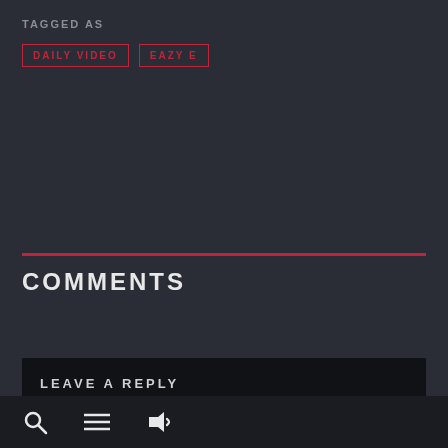TAGGED AS
DAILY VIDEO
EAZY E
COMMENTS
LEAVE A REPLY